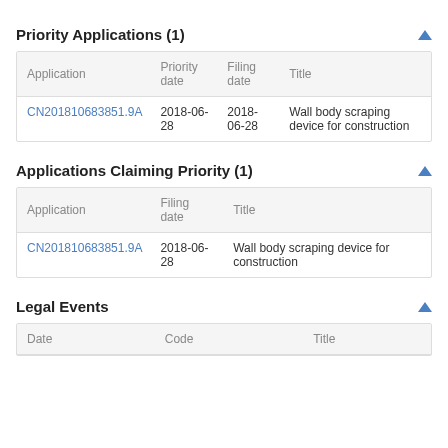Priority Applications (1)
| Application | Priority date | Filing date | Title |
| --- | --- | --- | --- |
| CN201810683851.9A | 2018-06-28 | 2018-06-28 | Wall body scraping device for construction |
Applications Claiming Priority (1)
| Application | Filing date | Title |
| --- | --- | --- |
| CN201810683851.9A | 2018-06-28 | Wall body scraping device for construction |
Legal Events
| Date | Code | Title |
| --- | --- | --- |